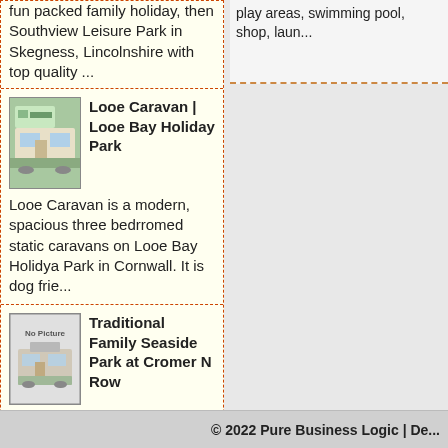fun packed family holiday, then Southview Leisure Park in Skegness, Lincolnshire with top quality ...
play areas, swimming pool, shop, laun...
[Figure (photo): Photo of a caravan with outdoor seating area]
Looe Caravan | Looe Bay Holiday Park
Looe Caravan is a modern, spacious three bedrromed static caravans on Looe Bay Holidya Park in Cornwall. It is dog frie...
[Figure (photo): No Picture placeholder image showing a caravan]
Traditional Family Seaside Park at Cromer N Row
Come join our small friendly park for outstanding sea views and stunning sunsets on the North Norfolk Coast at East Runt...
Hire Static Caravans
Hire Touring Caravans
Hire Motorhomes
© 2022 Pure Business Logic | De...